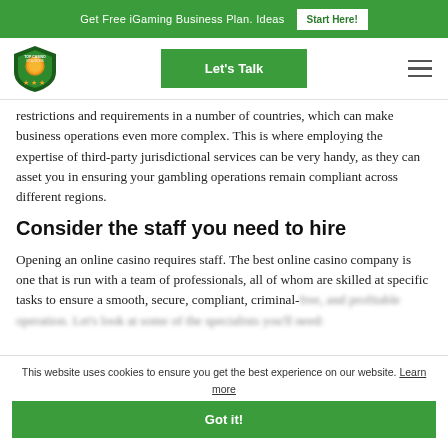Get Free iGaming Business Plan. Ideas  Start Here!
[Figure (logo): Top Casino Solutions shield logo with orange coin and green background and stars]
Let's Talk
restrictions and requirements in a number of countries, which can make business operations even more complex. This is where employing the expertise of third-party jurisdictional services can be very handy, as they can asset you in ensuring your gambling operations remain compliant across different regions.
Consider the staff you need to hire
Opening an online casino requires staff. The best online casino company is one that is run with a team of professionals, all of whom are skilled at specific tasks to ensure a smooth, secure, compliant, criminal-free, and profitable operation. Let's look at some of the specialists you'll need:
This website uses cookies to ensure you get the best experience on our website. Learn more
Got it!
Staff Needed for an Online Casino Operation